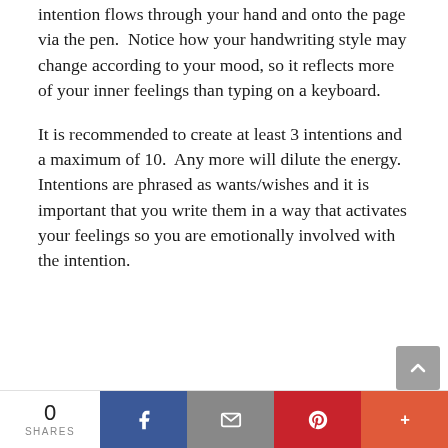intention flows through your hand and onto the page via the pen.  Notice how your handwriting style may change according to your mood, so it reflects more of your inner feelings than typing on a keyboard.
It is recommended to create at least 3 intentions and a maximum of 10.  Any more will dilute the energy. Intentions are phrased as wants/wishes and it is important that you write them in a way that activates your feelings so you are emotionally involved with the intention.
0 SHARES | [Facebook] [Email] [Pinterest] [More]